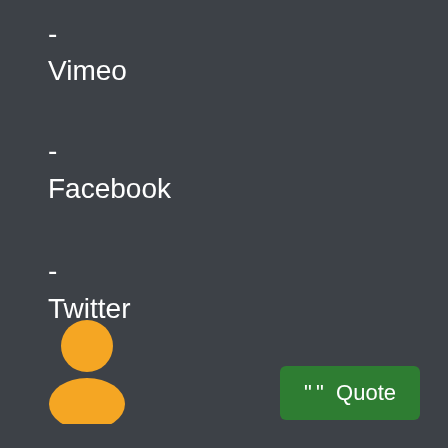-
Vimeo
-
Facebook
-
Twitter
-->
How to Effectively Ask Questions on…
<--
[Figure (illustration): Yellow user/person avatar icon at bottom left]
Quote